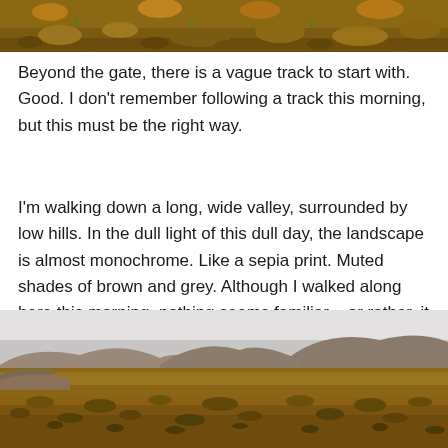[Figure (photo): Partial view of rocky, arid terrain with orange-brown rocks and sparse dry vegetation at the top of the page.]
Beyond the gate, there is a vague track to start with. Good. I don't remember following a track this morning, but this must be the right way.
I'm walking down a long, wide valley, surrounded by low hills. In the dull light of this dull day, the landscape is almost monochrome. Like a sepia print. Muted shades of brown and grey. Although I walked along here this morning, nothing seems familiar – or rather, it all seems monotonously the same, with no feature to focus on.
[Figure (photo): Wide valley landscape with low hills in the background, overcast pale sky, and dry brown scrubland in the foreground — a muted, almost monochrome sepia-toned scene.]